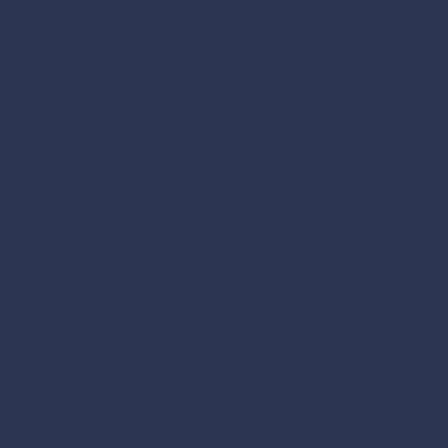Digital Factory
[Figure (illustration): Vintage telephone handset icon with rotary dial, outlined style in dark on yellow background]
CALL US
Phone: +86-13434008258
Fax: +86-769-83718186-807
[Figure (illustration): Soccer ball / help icon in white on dark navy background]
[Figure (logo): YY Thermal company logo: white oval with green border, green Y letters and 'Thermal' text in italic green]
fsales01@yythermal.com
+86-13434008258